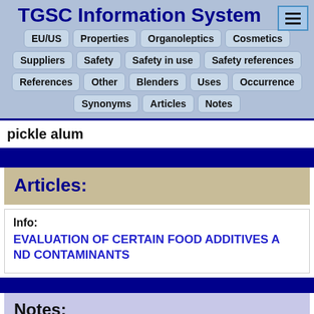TGSC Information System
EU/US
Properties
Organoleptics
Cosmetics
Suppliers
Safety
Safety in use
Safety references
References
Other
Blenders
Uses
Occurrence
Synonyms
Articles
Notes
pickle alum
Articles:
Info:
EVALUATION OF CERTAIN FOOD ADDITIVES AND CONTAMINANTS
Notes: